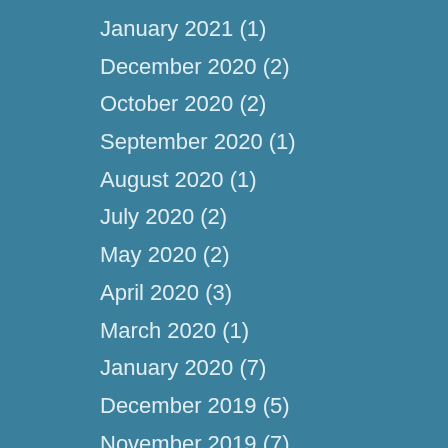January 2021 (1)
December 2020 (2)
October 2020 (2)
September 2020 (1)
August 2020 (1)
July 2020 (2)
May 2020 (2)
April 2020 (3)
March 2020 (1)
January 2020 (7)
December 2019 (5)
November 2019 (7)
October 2019 (12)
September 2019 (7)
August 2019 (9)